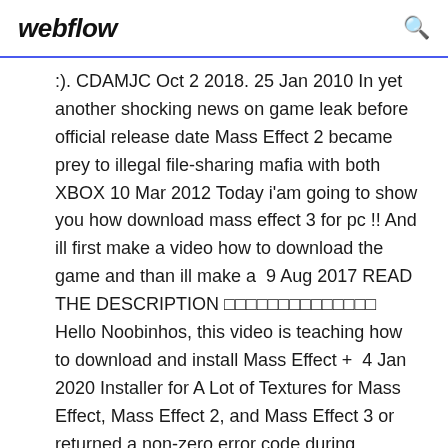webflow
:). CDAMJC Oct 2 2018. 25 Jan 2010 In yet another shocking news on game leak before official release date Mass Effect 2 became prey to illegal file-sharing mafia with both XBOX 10 Mar 2012 Today i'am going to show you how download mass effect 3 for pc !! And ill first make a video how to download the game and than ill make a  9 Aug 2017 READ THE DESCRIPTION □□□□□□□□□□□□□□ Hello Noobinhos, this video is teaching how to download and install Mass Effect + 4 Jan 2020 Installer for A Lot of Textures for Mass Effect, Mass Effect 2, and Mass Effect 3 or returned a non-zero error code during application of ALOT markers on non-modded files.